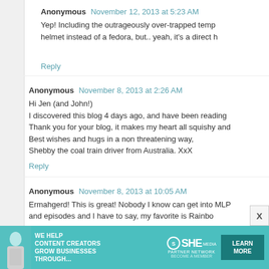Anonymous  November 12, 2013 at 5:23 AM
Yep! Including the outrageously over-trapped temp... helmet instead of a fedora, but.. yeah, it's a direct h...
Reply
Anonymous  November 8, 2013 at 2:26 AM
Hi Jen (and John!)
I discovered this blog 4 days ago, and have been reading...
Thank you for your blog, it makes my heart all squishy and...
Best wishes and hugs in a non threatening way,
Shebby the coal train driver from Australia. XxX
Reply
Anonymous  November 8, 2013 at 10:05 AM
Ermahgerd! This is great! Nobody I know can get into MLP... and episodes and I have to say, my favorite is Rainbo...
Reply
[Figure (infographic): SHE Media Partner Network advertisement banner: 'We Help Content Creators Grow Businesses Through...' with Learn More button]